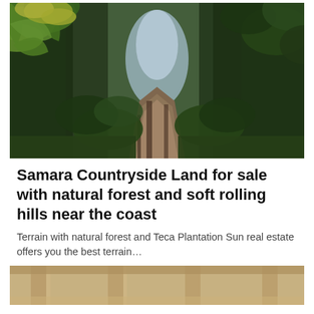[Figure (photo): A forest trail path with lush green trees and vegetation on both sides, with light visible in the background through the tree canopy. Large green tropical leaves visible in the upper left.]
Samara Countryside Land for sale with natural forest and soft rolling hills near the coast
Terrain with natural forest and Teca Plantation Sun real estate offers you the best terrain…
[Figure (photo): Partial view of a building or structure with wooden/concrete pillars, warm tan/beige tones, partially visible at the bottom of the page.]